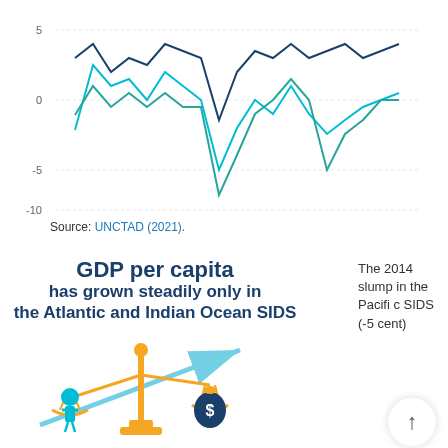[Figure (line-chart): Multi-line chart showing GDP per capita growth for different SIDS groups (Atlantic/Indian Ocean, Pacific, Caribbean) from 2000 to ~2018. Y-axis from -10 to 5. Lines show volatile growth with a notable dip around 2009 for Pacific SIDS to about -5 percent, and a dip around 2014-2015.]
Source: UNCTAD (2021).
GDP per capita has grown steadily only in the Atlantic and Indian Ocean SIDS
The 2014 slump in the Pacific SIDS (-5 cent)
[Figure (infographic): Balance scale infographic showing a person (teal figure) on one side and a money bag with dollar sign (dark blue) on the other, with a rising teal arrow pointing to the upper right. Scale is gold/yellow colored.]